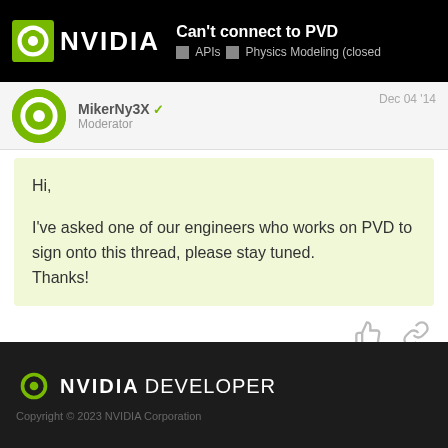Can't connect to PVD | APIs | Physics Modeling (closed)
MikerNy3X Moderator — Dec 04 '14
Hi,

I've asked one of our engineers who works on PVD to sign onto this thread, please stay tuned.
Thanks!
5 / 7
Reply
NVIDIA DEVELOPER
Copyright © 2023 NVIDIA Corporation